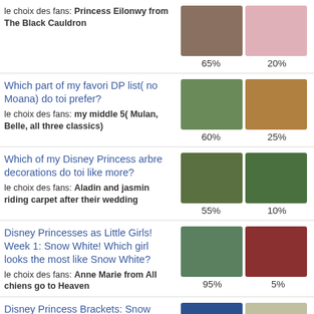le choix des fans: Princess Eilonwy from The Black Cauldron | 65% | 20%
Which part of my favori DP list( no Moana) do toi prefer? le choix des fans: my middle 5( Mulan, Belle, all three classics) | 60% | 25%
Which of my Disney Princess arbre decorations do toi like more? le choix des fans: Aladin and jasmin riding carpet after their wedding | 55% | 10%
Disney Princesses as Little Girls! Week 1: Snow White! Which girl looks the most like Snow White? le choix des fans: Anne Marie from All chiens go to Heaven | 95% | 5%
Disney Princess Brackets: Snow White vs. Mulan - pick who toi want to win! (Results par comments.) le choix des fans: Mulan | 65% | 35%